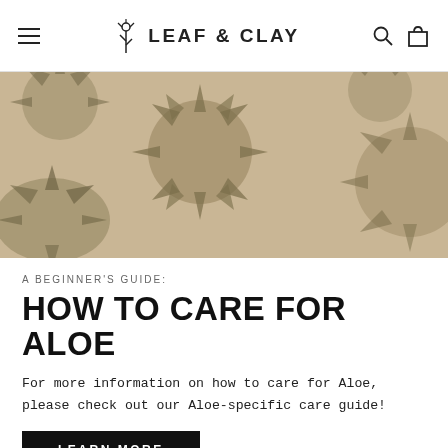LEAF & CLAY
[Figure (illustration): Decorative hero banner with illustrated aloe/succulent plants in olive green and tan tones on a warm beige/sandy background]
A BEGINNER'S GUIDE:
HOW TO CARE FOR ALOE
For more information on how to care for Aloe, please check out our Aloe-specific care guide!
LEARN MORE